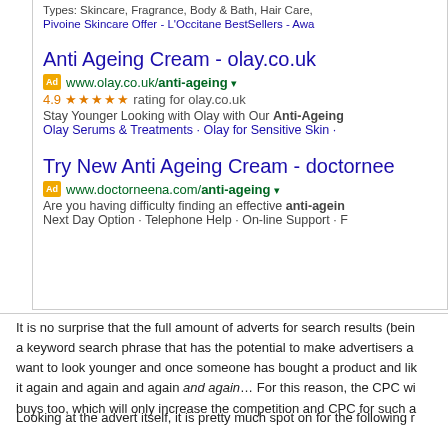[Figure (screenshot): Screenshot of Google search results showing two ads: 'Anti Ageing Cream - olay.co.uk' with 4.9 star rating, and 'Try New Anti Ageing Cream - doctornee...' with URL www.doctorneena.com/anti-ageing. Also shows Types: Skincare, Fragrance, Body & Bath, Hair Care line and Pivoine Skincare Offer link.]
It is no surprise that the full amount of adverts for search results (bein a keyword search phrase that has the potential to make advertisers a want to look younger and once someone has bought a product and lik it again and again and again and again... For this reason, the CPC wi buys too, which will only increase the competition and CPC for such a
Looking at the advert itself, it is pretty much spot on for the following r